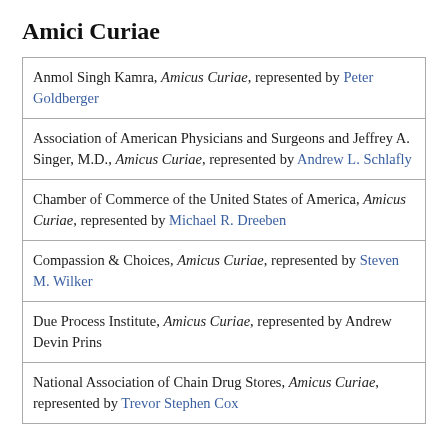Amici Curiae
| Anmol Singh Kamra, Amicus Curiae, represented by Peter Goldberger |
| Association of American Physicians and Surgeons and Jeffrey A. Singer, M.D., Amicus Curiae, represented by Andrew L. Schlafly |
| Chamber of Commerce of the United States of America, Amicus Curiae, represented by Michael R. Dreeben |
| Compassion & Choices, Amicus Curiae, represented by Steven M. Wilker |
| Due Process Institute, Amicus Curiae, represented by Andrew Devin Prins |
| National Association of Chain Drug Stores, Amicus Curiae, represented by Trevor Stephen Cox |